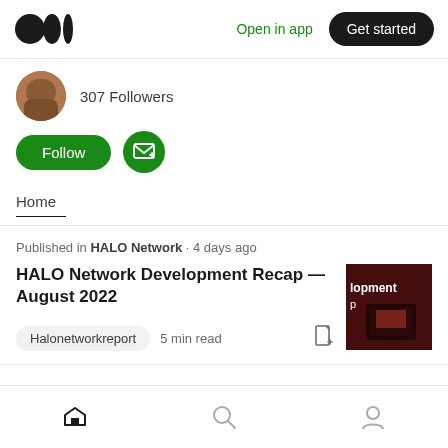Open in app · Get started
307 Followers
[Figure (illustration): Follow button (green pill) and Subscribe button (green circle with envelope icon)]
Home
Published in HALO Network · 4 days ago
HALO Network Development Recap — August 2022
[Figure (photo): Dark red/maroon thumbnail image showing text 'lopment' and a person working at a laptop]
Halonetworkreport   5 min read
Home · Search · Profile navigation icons